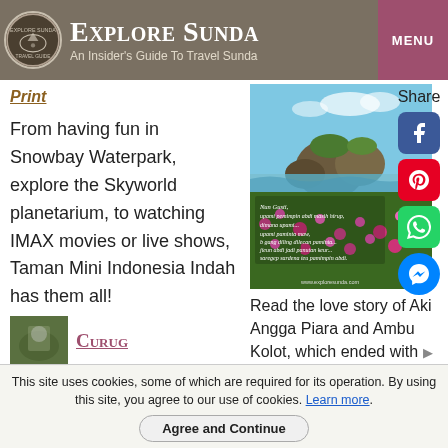Explore Sunda — An Insider's Guide To Travel Sunda
Print
From having fun in Snowbay Waterpark, explore the Skyworld planetarium, to watching IMAX movies or live shows, Taman Mini Indonesia Indah has them all!
[Figure (photo): Coastal rocky landscape and flower field with Sundanese poem text overlay]
Read the love story of Aki Angga Piara and Ambu Kolot, which ended with
Curug
This site uses cookies, some of which are required for its operation. By using this site, you agree to our use of cookies. Learn more.